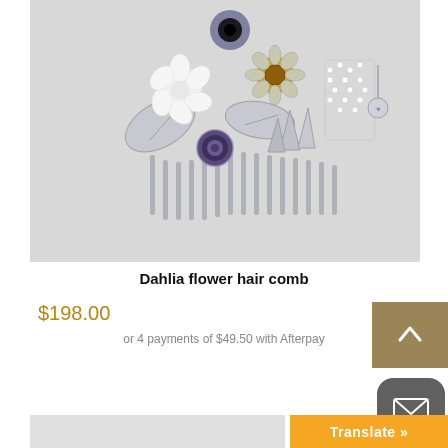[Figure (photo): A decorative silver hair comb adorned with white flowers, a sunflower, gemstones, leaves, and a small charm, displayed on a light gray background.]
Dahlia flower hair comb
$198.00
or 4 payments of $49.50 with Afterpay